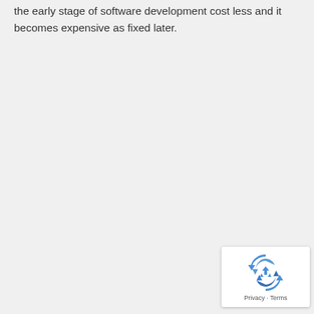the early stage of software development cost less and it becomes expensive as fixed later.
[Figure (logo): reCAPTCHA badge with recycling-arrow logo and Privacy · Terms text]